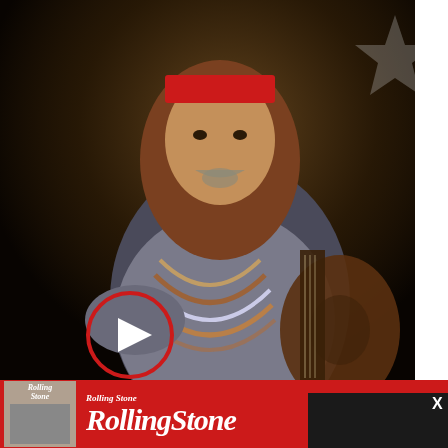[Figure (photo): Photo of Willie Nelson playing guitar, wearing a red bandana headband and beaded necklaces, on a dark stage. A red-circle play button overlay is visible in the lower left of the image.]
David Redfern/Redfern
Willie Nelson first b… recording sessions f… guitarist Johnny Ch… writers – pitched it…
[Figure (screenshot): Dark modal popup with white text reading 'Browser not compatible', subtext 'You may need to update your browser', and a blue underlined link 'Report ID: 1gbpi96pc5k45e1gttv'. A white X close button is in the top right corner.]
[Figure (logo): Rolling Stone magazine advertisement banner — red background with white Rolling Stone logo text and a small magazine cover thumbnail on the left.]